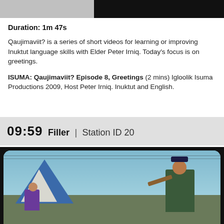[Figure (photo): Top partial image showing two panels: left panel with a grey/white background (partial face or object), right panel with dark/black background]
Duration: 1m 47s
Qaujimaviit? is a series of short videos for learning or improving Inuktut language skills with Elder Peter Irniq. Today's focus is on greetings.
ISUMA: Qaujimaviit? Episode 8, Greetings (2 mins) Igloolik Isuma Productions 2009, Host Peter Irniq. Inuktut and English.
09:59 Filler | Station ID 20
[Figure (photo): Outdoor scene with a man playing violin wearing a dark parka and patterned hat, and a young child in a purple outfit near a blue and white tent, blue sky background]